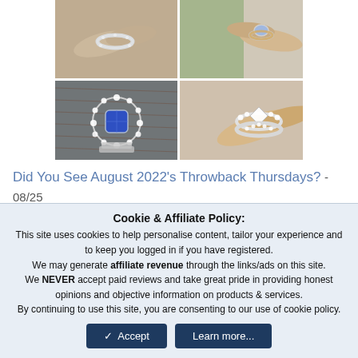[Figure (photo): 2x2 grid of four ring photos: top-left shows a diamond band on a hand, top-right shows a light blue sapphire solitaire on a hand, bottom-left shows a blue sapphire halo ring, bottom-right shows a diamond cluster ring]
Did You See August 2022's Throwback Thursdays?  - 08/25
August Birthstone Jewelry 2022 - Peridot  - 08/24
Cookie & Affiliate Policy: This site uses cookies to help personalise content, tailor your experience and to keep you logged in if you have registered. We may generate affiliate revenue through the links/ads on this site. We NEVER accept paid reviews and take great pride in providing honest opinions and objective information on products & services. By continuing to use this site, you are consenting to our use of cookie policy.